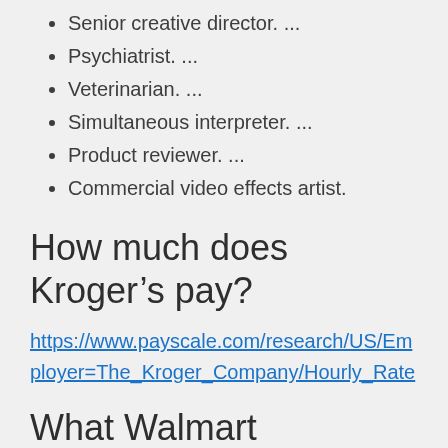Senior creative director. ...
Psychiatrist. ...
Veterinarian. ...
Simultaneous interpreter. ...
Product reviewer. ...
Commercial video effects artist.
How much does Kroger’s pay?
https://www.payscale.com/research/US/Employer=The_Kroger_Company/Hourly_Rate
What Walmart